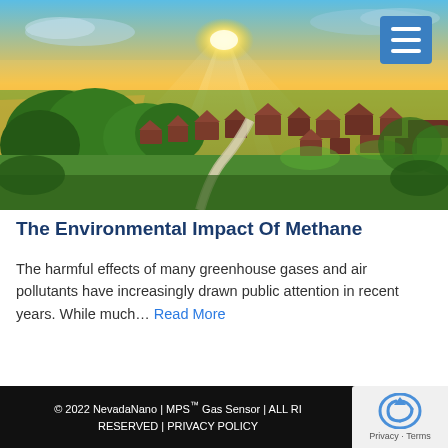[Figure (photo): Aerial drone view of a suburban town at sunset with green trees, residential houses with varied rooftops, and a winding road. Golden sunlight bursts through clouds on the horizon with a blue sky.]
The Environmental Impact Of Methane
The harmful effects of many greenhouse gases and air pollutants have increasingly drawn public attention in recent years. While much… Read More
© 2022 NevadaNano | MPS™ Gas Sensor | ALL RIGHTS RESERVED | PRIVACY POLICY